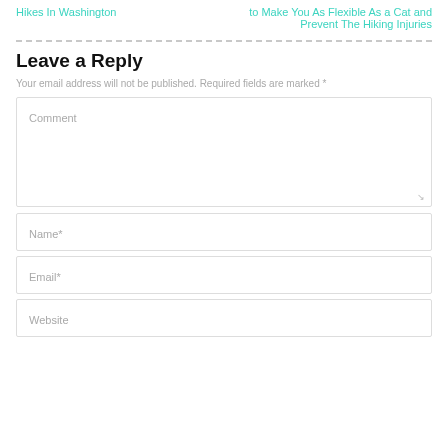Hikes In Washington
to Make You As Flexible As a Cat and Prevent The Hiking Injuries
Leave a Reply
Your email address will not be published. Required fields are marked *
Comment
Name*
Email*
Website